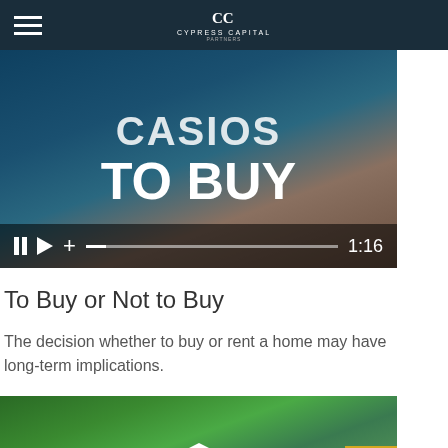Cypress Capital — navigation header with hamburger menu and logo
[Figure (screenshot): Video thumbnail showing text 'TO BUY' on a tablet screen with a video player control bar showing pause, play, plus icons and timestamp 1:16]
To Buy or Not to Buy
The decision whether to buy or rent a home may have long-term implications.
[Figure (photo): Photograph of a house partially obscured by green trees with a white house silhouette overlay and a yellow back-to-top button with an upward arrow]